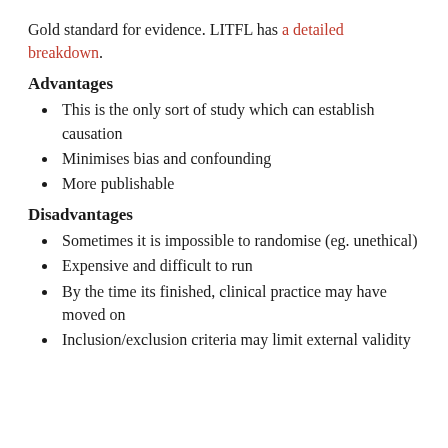Gold standard for evidence. LITFL has a detailed breakdown.
Advantages
This is the only sort of study which can establish causation
Minimises bias and confounding
More publishable
Disadvantages
Sometimes it is impossible to randomise (eg. unethical)
Expensive and difficult to run
By the time its finished, clinical practice may have moved on
Inclusion/exclusion criteria may limit external validity